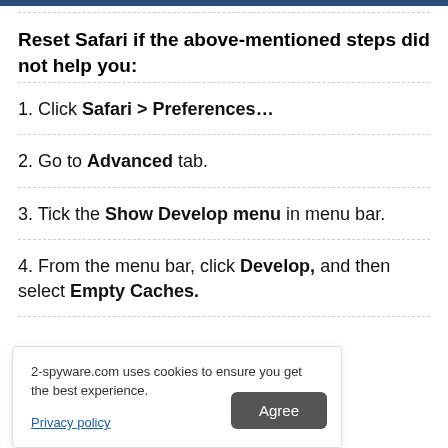Reset Safari if the above-mentioned steps did not help you:
1. Click Safari > Preferences…
2. Go to Advanced tab.
3. Tick the Show Develop menu in menu bar.
4. From the menu bar, click Develop, and then select Empty Caches.
2-spyware.com uses cookies to ensure you get the best experience.
Privacy policy
Agree